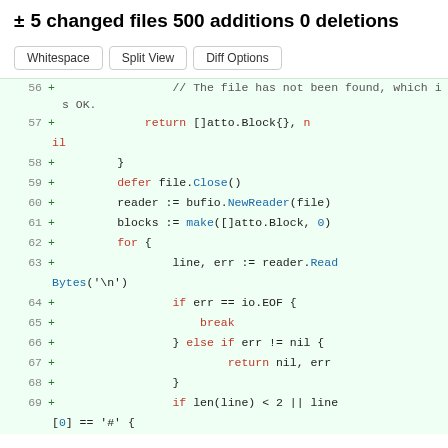± 5 changed files 500 additions 0 deletions
[Figure (screenshot): Three buttons: Whitespace, Split View, Diff Options]
56 + // The file has not been found, which is OK.
57 +   return []atto.Block{}, nil
58 + }
59 + defer file.Close()
60 + reader := bufio.NewReader(file)
61 + blocks := make([]atto.Block, 0)
62 + for {
63 +     line, err := reader.ReadBytes('\n')
64 +     if err == io.EOF {
65 +         break
66 +     } else if err != nil {
67 +         return nil, err
68 +     }
69 +     if len(line) < 2 || line[0] == '#' {